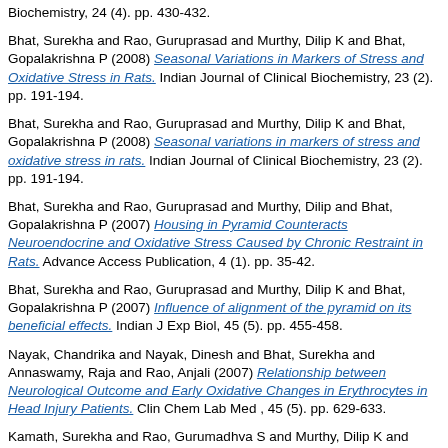Biochemistry, 24 (4). pp. 430-432.
Bhat, Surekha and Rao, Guruprasad and Murthy, Dilip K and Bhat, Gopalakrishna P (2008) Seasonal Variations in Markers of Stress and Oxidative Stress in Rats. Indian Journal of Clinical Biochemistry, 23 (2). pp. 191-194.
Bhat, Surekha and Rao, Guruprasad and Murthy, Dilip K and Bhat, Gopalakrishna P (2008) Seasonal variations in markers of stress and oxidative stress in rats. Indian Journal of Clinical Biochemistry, 23 (2). pp. 191-194.
Bhat, Surekha and Rao, Guruprasad and Murthy, Dilip and Bhat, Gopalakrishna P (2007) Housing in Pyramid Counteracts Neuroendocrine and Oxidative Stress Caused by Chronic Restraint in Rats. Advance Access Publication, 4 (1). pp. 35-42.
Bhat, Surekha and Rao, Guruprasad and Murthy, Dilip K and Bhat, Gopalakrishna P (2007) Influence of alignment of the pyramid on its beneficial effects. Indian J Exp Biol, 45 (5). pp. 455-458.
Nayak, Chandrika and Nayak, Dinesh and Bhat, Surekha and Annaswamy, Raja and Rao, Anjali (2007) Relationship between Neurological Outcome and Early Oxidative Changes in Erythrocytes in Head Injury Patients. Clin Chem Lab Med , 45 (5). pp. 629-633.
Kamath, Surekha and Rao, Gurumadhva S and Murthy, Dilip K and Bairy, KL and Bhat, Surekha (2006) Enhanced wound contraction and epithelization period in steroid treated rats:role of pyramid environment. Indian J Exp Biol., 44 (11). pp. 902-904.
Bhat, Surekha and Rao, Guruprasad and Murthy, Dilip K and Bhat, Gopalakrishna P (2006) Effects of housing in pyramid environment on...